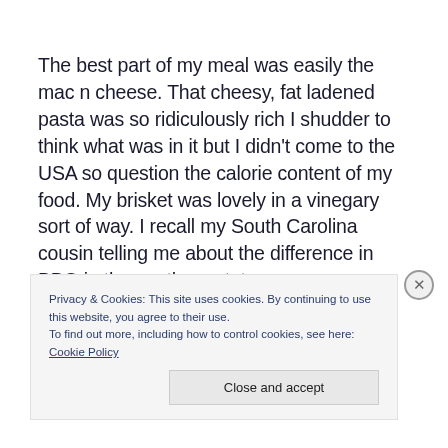The best part of my meal was easily the mac n cheese. That cheesy, fat ladened pasta was so ridiculously rich I shudder to think what was in it but I didn't come to the USA so question the calorie content of my food. My brisket was lovely in a vinegary sort of way. I recall my South Carolina cousin telling me about the difference in BBQ in the southern states – some swear by the vinegary type
Privacy & Cookies: This site uses cookies. By continuing to use this website, you agree to their use.
To find out more, including how to control cookies, see here: Cookie Policy
Close and accept